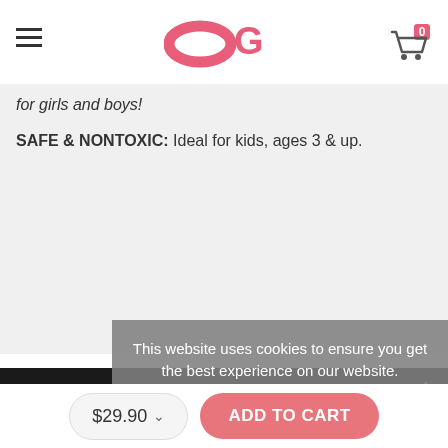OG (logo) — navigation header with hamburger menu and cart icon
for girls and boys!
SAFE & NONTOXIC: Ideal for kids, ages 3 & up.
PROMOTIONS
MEMBERSHIP
SHOP WITH US
This website uses cookies to ensure you get the best experience on our website. Learn more Got it!
$29.90  ADD TO CART